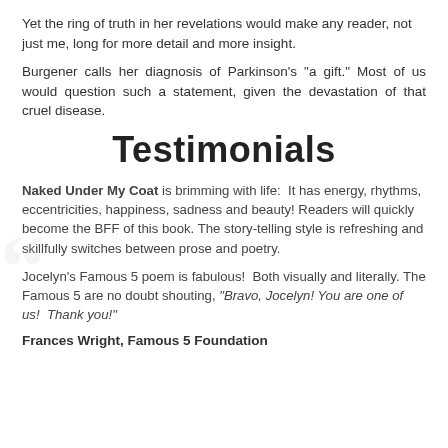Yet the ring of truth in her revelations would make any reader, not just me, long for more detail and more insight.
Burgener calls her diagnosis of Parkinson's "a gift." Most of us would question such a statement, given the devastation of that cruel disease.
Testimonials
Naked Under My Coat is brimming with life:  It has energy, rhythms, eccentricities, happiness, sadness and beauty! Readers will quickly become the BFF of this book. The story-telling style is refreshing and skillfully switches between prose and poetry.
Jocelyn's Famous 5 poem is fabulous!  Both visually and literally. The Famous 5 are no doubt shouting, "Bravo, Jocelyn! You are one of us!  Thank you!"
Frances Wright, Famous 5 Foundation